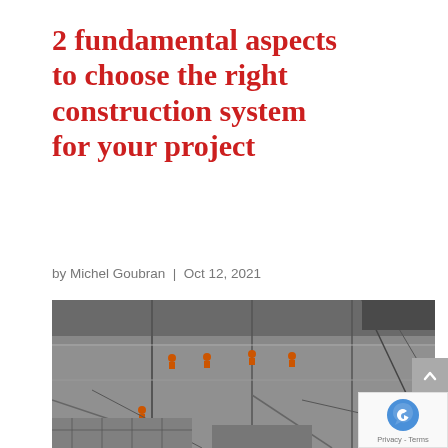2 fundamental aspects to choose the right construction system for your project
by Michel Goubran | Oct 12, 2021
[Figure (photo): Aerial black and white photograph of a construction site with workers in orange safety vests visible on concrete structures and scaffolding.]